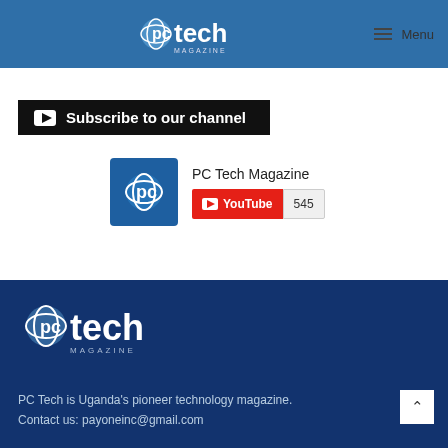pc tech MAGAZINE  Menu
[Figure (logo): PC Tech Magazine logo in white on blue header background]
Subscribe to our channel
[Figure (logo): PC Tech Magazine YouTube channel widget showing 545 subscribers]
[Figure (logo): PC Tech Magazine logo in white on dark blue footer background]
PC Tech is Uganda's pioneer technology magazine.
Contact us: payoneinc@gmail.com